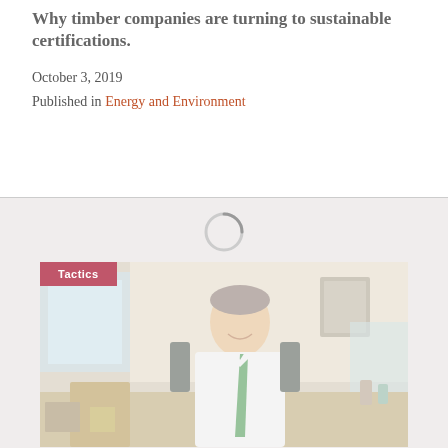Why timber companies are turning to sustainable certifications.
October 3, 2019
Published in Energy and Environment
[Figure (photo): Loading spinner (circular gray indicator) in a light gray section, followed by an office photo of a man in a white shirt and green tie sitting at a desk, smiling. A pink/red 'Tactics' label badge is overlaid on the top-left corner of the photo.]